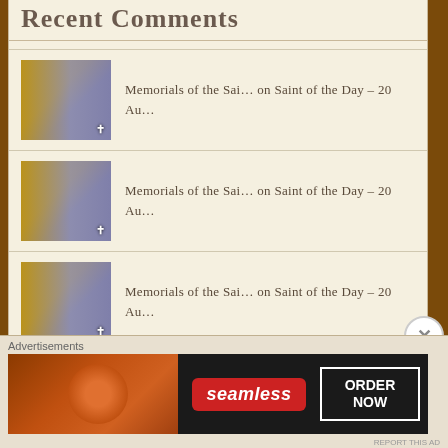Recent Comments
Memorials of the Sai… on Saint of the Day – 20 Au…
Memorials of the Sai… on Saint of the Day – 20 Au…
Memorials of the Sai… on Saint of the Day – 20 Au…
Memorials of the Sai… on Saint of the Day – 20 Au…
Thought for the Day… on Thought for the Day – 26 Augus…
Advertisements
[Figure (screenshot): Seamless food delivery advertisement banner with pizza image, Seamless logo, and ORDER NOW button]